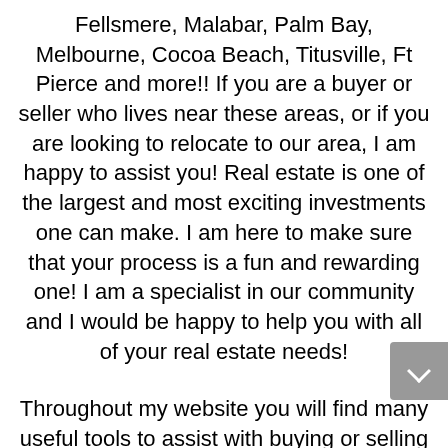Fellsmere, Malabar, Palm Bay, Melbourne, Cocoa Beach, Titusville, Ft Pierce and more!! If you are a buyer or seller who lives near these areas, or if you are looking to relocate to our area, I am happy to assist you! Real estate is one of the largest and most exciting investments one can make. I am here to make sure that your process is a fun and rewarding one! I am a specialist in our community and I would be happy to help you with all of your real estate needs!
Throughout my website you will find many useful tools to assist with buying or selling a home. I am dedicated to providing the finest service available, and my website can be a great resource for you to use free! Make sure to bookmark my website for future use